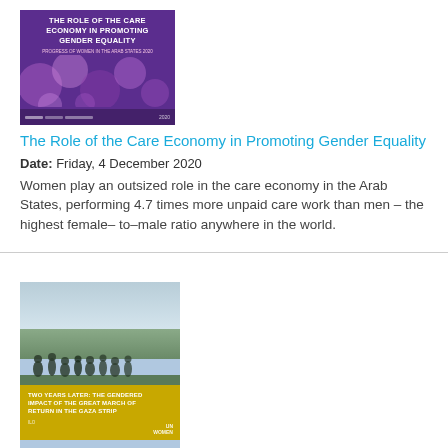[Figure (illustration): Book cover: The Role of the Care Economy in Promoting Gender Equality – purple cover with circular graphic elements]
The Role of the Care Economy in Promoting Gender Equality
Date: Friday, 4 December 2020
Women play an outsized role in the care economy in the Arab States, performing 4.7 times more unpaid care work than men – the highest female– to–male ratio anywhere in the world.
[Figure (photo): Book cover: Two Years Later: The Gendered Impact of the Great March of Return in the Gaza Strip – photo of people marching with yellow banner]
Two Years Later: The Gendered Impact of the Great March of Return in the Gaza Strip
Date: Tuesday, 1 December 2020